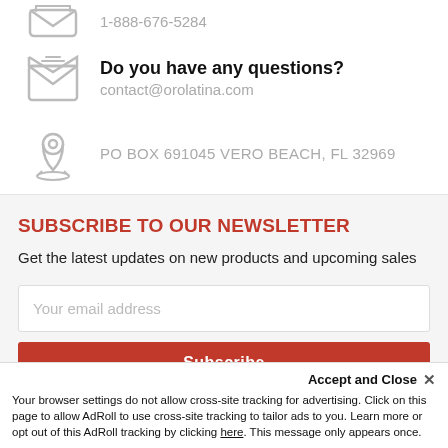1-888-676-5284
Do you have any questions?
contact@orolatina.com
PO BOX 691045 VERO BEACH, FL 32969
SUBSCRIBE TO OUR NEWSLETTER
Get the latest updates on new products and upcoming sales
Your email address
Subscribe
Accept and Close ✕
Your browser settings do not allow cross-site tracking for advertising. Click on this page to allow AdRoll to use cross-site tracking to tailor ads to you. Learn more or opt out of this AdRoll tracking by clicking here. This message only appears once.